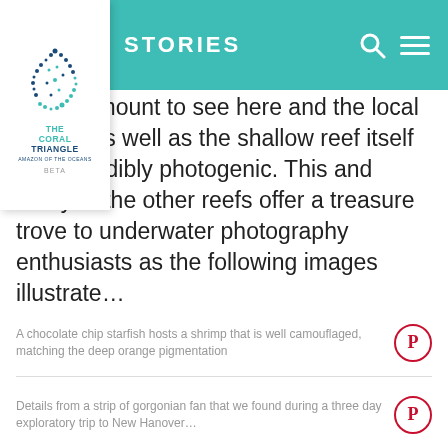STORIES
[Figure (logo): The Coral Triangle - Amazon of the Oceans - BETA logo]
…uge amount to see here and the local critters as well as the shallow reef itself are incredibly photogenic. This and many of the other reefs offer a treasure trove to underwater photography enthusiasts as the following images illustrate…
A chocolate chip starfish hosts a shrimp that is well camouflaged, matching the deep orange pigmentation
Details from a strip of gorgonian fan that we found during a three day exploratory trip to New Hanover…